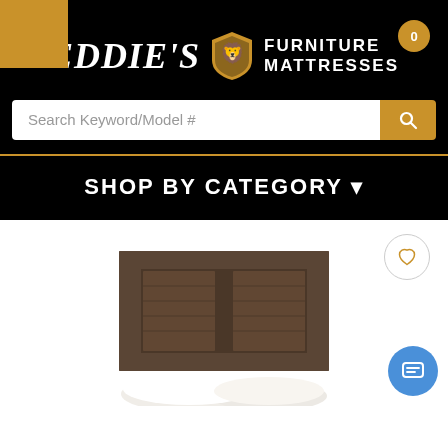[Figure (logo): Eddie's Furniture & Mattresses logo with gold shield emblem on black background]
Search Keyword/Model #
SHOP BY CATEGORY -
[Figure (photo): Wooden bed headboard with rustic dark finish, white pillows visible at base]